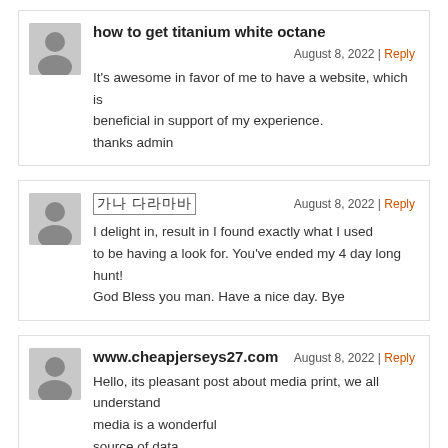how to get titanium white octane
August 8, 2022 | Reply
It's awesome in favor of me to have a website, which is beneficial in support of my experience.
thanks admin
가나 다라마
August 8, 2022 | Reply
I delight in, result in I found exactly what I used to be having a look for. You've ended my 4 day long hunt! God Bless you man. Have a nice day. Bye
www.cheapjerseys27.com
August 8, 2022 | Reply
Hello, its pleasant post about media print, we all understand media is a wonderful
source of data.